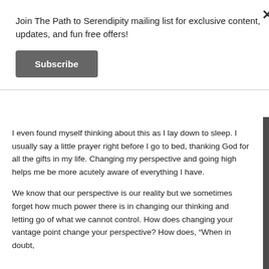Join The Path to Serendipity mailing list for exclusive content, updates, and fun free offers!
Subscribe
I even found myself thinking about this as I lay down to sleep. I usually say a little prayer right before I go to bed, thanking God for all the gifts in my life. Changing my perspective and going high helps me be more acutely aware of everything I have.
We know that our perspective is our reality but we sometimes forget how much power there is in changing our thinking and letting go of what we cannot control. How does changing your vantage point change your perspective? How does, “When in doubt,